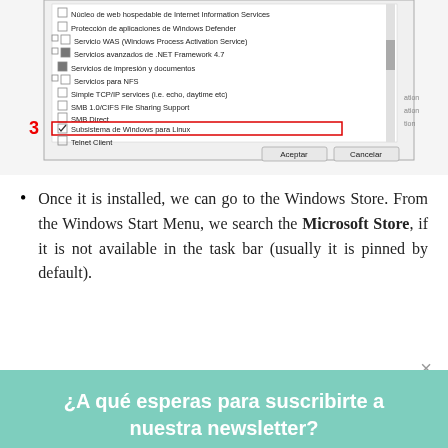[Figure (screenshot): Windows Features dialog box screenshot showing a list of Windows components with checkboxes. Item 3 highlighted with a red box around 'Subsistema de Windows para Linux' (Windows Subsystem for Linux) which is checked. Buttons 'Aceptar' and 'Cancelar' visible at bottom.]
Once it is installed, we can go to the Windows Store. From the Windows Start Menu, we search the Microsoft Store, if it is not available in the task bar (usually it is pinned by default).
¿A qué esperas para suscribirte a nuestra newsletter?
tuemail@tudominio.com
SUSCRIBIRSE